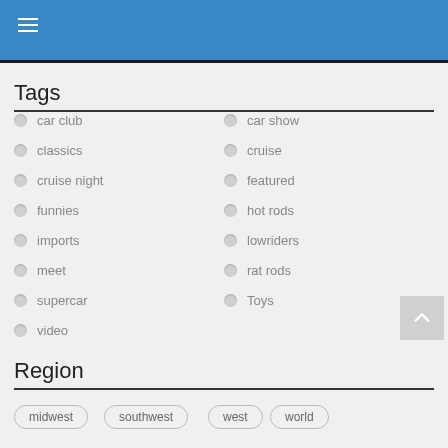≡
Tags
car club
car show
classics
cruise
cruise night
featured
funnies
hot rods
imports
lowriders
meet
rat rods
supercar
Toys
video
Region
midwest
southwest
west
world